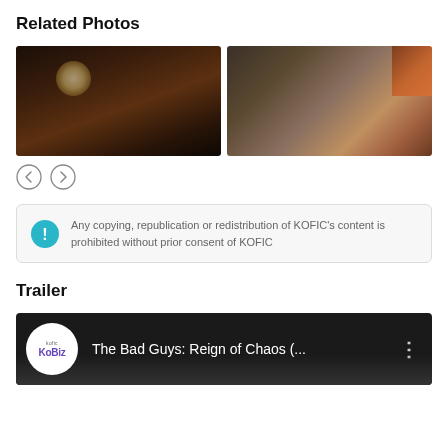Related Photos
[Figure (photo): Two movie stills side by side: left shows a heavyset man in dark clothing in a dimly lit room with warm background light; right shows a person in dark clothing aiming a gun.]
Navigation arrows (left and right)
Any copying, republication or redistribution of KOFIC's content is prohibited without prior consent of KOFIC
Trailer
[Figure (screenshot): YouTube-style video thumbnail for 'The Bad Guys: Reign of Chaos (...' with KoBiz logo circle on left and menu dots on right, dark background.]